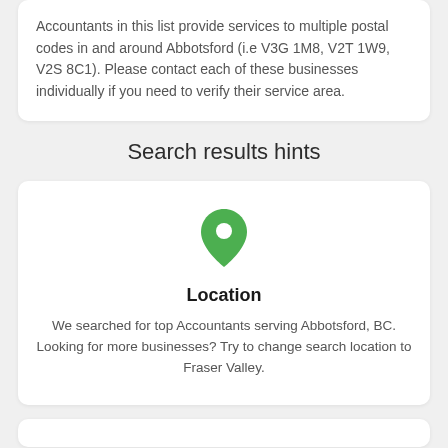Accountants in this list provide services to multiple postal codes in and around Abbotsford (i.e V3G 1M8, V2T 1W9, V2S 8C1). Please contact each of these businesses individually if you need to verify their service area.
Search results hints
[Figure (illustration): Green map location pin icon]
Location
We searched for top Accountants serving Abbotsford, BC. Looking for more businesses? Try to change search location to Fraser Valley.